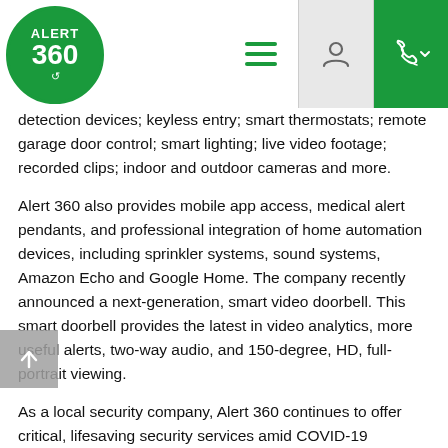[Figure (logo): Alert 360 circular green logo with white text reading ALERT 360 and an arrow]
detection devices; keyless entry; smart thermostats; remote garage door control; smart lighting; live video footage; recorded clips; indoor and outdoor cameras and more.
Alert 360 also provides mobile app access, medical alert pendants, and professional integration of home automation devices, including sprinkler systems, sound systems, Amazon Echo and Google Home. The company recently announced a next-generation, smart video doorbell. This smart doorbell provides the latest in video analytics, more useful alerts, two-way audio, and 150-degree, HD, full-portrait viewing.
As a local security company, Alert 360 continues to offer critical, lifesaving security services amid COVID-19 concerns, with Limited-Touch service and installation. The company has a network of branches from coast to coast, providing local security services for its nearly quarter of a million home and business security customers.